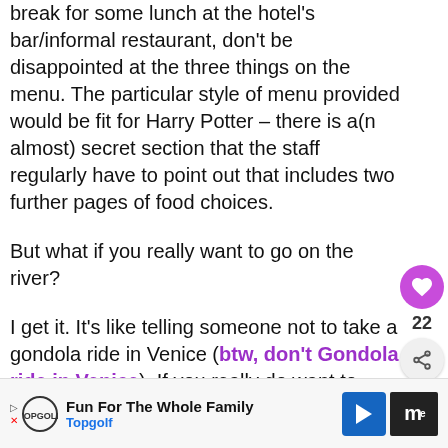break for some lunch at the hotel's bar/informal restaurant, don't be disappointed at the three things on the menu. The particular style of menu provided would be fit for Harry Potter – there is a(n almost) secret section that the staff regularly have to point out that includes two further pages of food choices.
But what if you really want to go on the river?
I get it. It's like telling someone not to take a gondola ride in Venice (btw, don't Gondola ride in Venice). If you really do want to take a boat cruise, check out this
[Figure (other): Social sidebar with heart/like button showing 22 likes and share button]
[Figure (other): What's Next panel showing '21 Must Try Traditional...' with food thumbnail]
[Figure (other): Advertisement bar for Topgolf - Fun For The Whole Family]